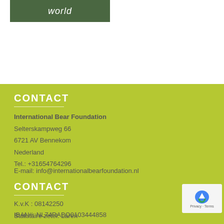[Figure (logo): Logo bar with dark green background and white italic text reading 'world']
CONTACT
International Bear Foundation
Selterskampweg 66
6721 AV Bennekom
Nederland
Tel.: +31654764296
E-mail: info@internationalbearfoundation.nl
CONTACT
K.v.K : 08142250
Statutaire zetel: Laren
IBAN#: NL74RABO0103444858
BIC: RABONL2U